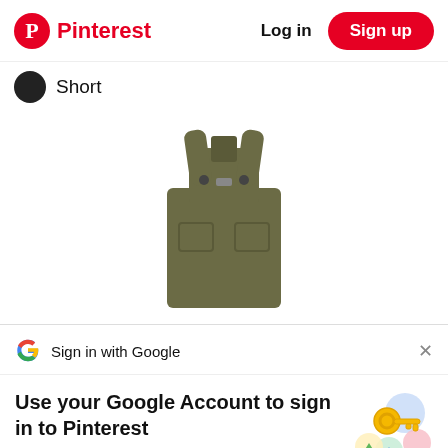Pinterest  Log in  Sign up
Short
[Figure (photo): Olive/khaki colored overalls or dungarees garment shown from the front, no model, white background]
Sign in with Google
Use your Google Account to sign in to Pinterest
No more passwords to remember. Signing in is fast, simple and secure.
[Figure (illustration): Google key illustration with colorful circles and a golden key, representing Google sign-in security]
Continue